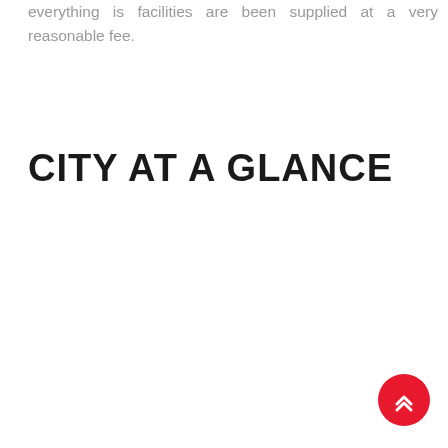everything is facilities are been supplied at a very reasonable fee.
CITY AT A GLANCE
[Figure (other): Red circular floating action button with double upward chevron arrow icon in white]